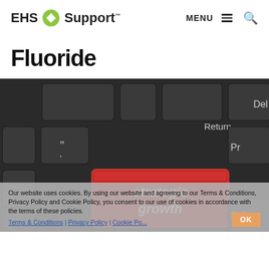EHS Support | MENU ☰ 🔍
Fluoride
[Figure (photo): Close-up photo of a dark keyboard with a red 'strategic growth' key replacing the Enter key, and other keys visible including Return, Del, Shift, and Pr]
Our website uses cookies. By using our website and agreeing to our Terms & Conditions, Privacy Policy and Cookie Policy, you consent to our use of cookies in accordance with the terms of these policies.
Terms & Conditions | Privacy Policy | Cookie Policy
OK